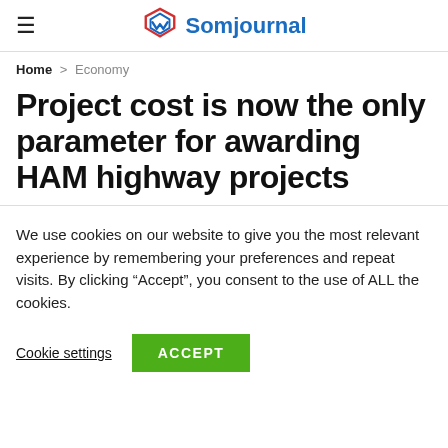Somjournal
Home > Economy
Project cost is now the only parameter for awarding HAM highway projects
We use cookies on our website to give you the most relevant experience by remembering your preferences and repeat visits. By clicking “Accept”, you consent to the use of ALL the cookies.
Cookie settings  ACCEPT